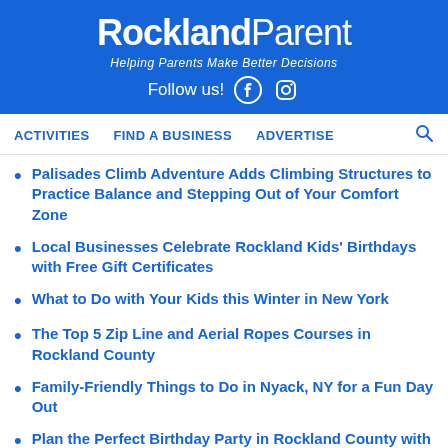Rockland Parent — Helping Parents Make Better Decisions — Follow us!
ACTIVITIES   FIND A BUSINESS   ADVERTISE
Palisades Climb Adventure Adds Climbing Structures to Practice Balance and Stepping Out of Your Comfort Zone
Local Businesses Celebrate Rockland Kids' Birthdays with Free Gift Certificates
What to Do with Your Kids this Winter in New York
The Top 5 Zip Line and Aerial Ropes Courses in Rockland County
Family-Friendly Things to Do in Nyack, NY for a Fun Day Out
Plan the Perfect Birthday Party in Rockland County with our Helpful Guide
Instagram-Worthy Moments from Kids' Activities & Programs in Rockland